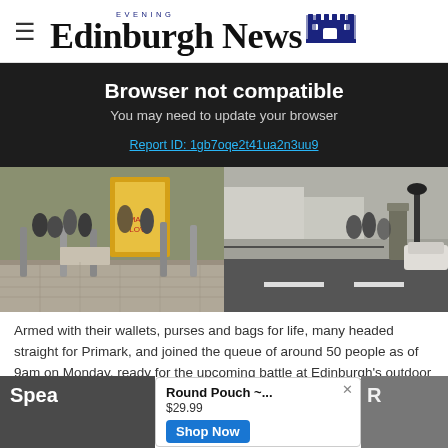Edinburgh Evening News
Browser not compatible
You may need to update your browser
Report ID: 1gb7oqe2t41ua2n3uu9
[Figure (photo): Split photo showing people queuing outside a retail area (Primark), with bollards and a colorful display on the left, and a road/street scene on the right]
Armed with their wallets, purses and bags for life, many headed straight for Primark, and joined the queue of around 50 people as of 9am on Monday, ready for the upcoming battle at Edinburgh's outdoor retail park.
Spea
[Figure (other): Advertisement: Round Pouch ~... $29.99 with Shop Now button]
oypo